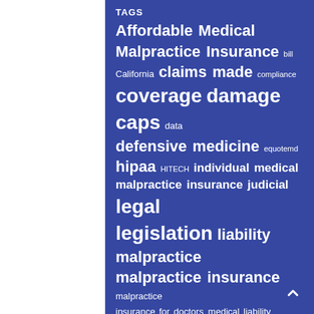TAGS
[Figure (infographic): Tag cloud on blue background with insurance and medical malpractice related terms in varying sizes: Affordable Medical Malpractice Insurance, bill, California, claims made, compliance, coverage, damage caps, data, defensive medicine, equotemd, hipaa, HITECH, individual medical malpractice insurance, judicial, legal, legislation, liability, malpractice, malpractice insurance, malpractice insurance for doctors, medical liability insurance, medical malpractice, medical malpractice]